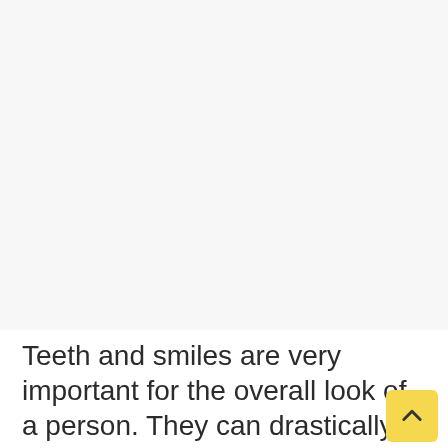[Figure (photo): Large image area placeholder (photo related to teeth/smiles), light gray background]
Teeth and smiles are very important for the overall look of a person. They can drastically change the look of your face and they are one of the things that can